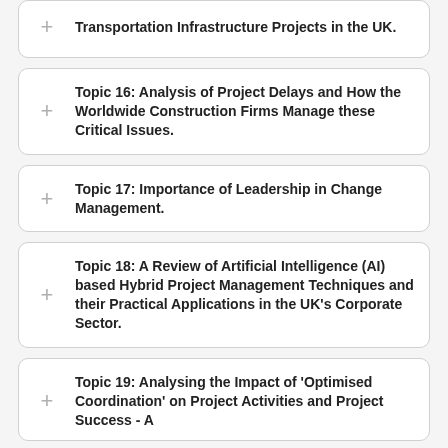Transportation Infrastructure Projects in the UK.
Topic 16: Analysis of Project Delays and How the Worldwide Construction Firms Manage these Critical Issues.
Topic 17: Importance of Leadership in Change Management.
Topic 18: A Review of Artificial Intelligence (AI) based Hybrid Project Management Techniques and their Practical Applications in the UK's Corporate Sector.
Topic 19: Analysing the Impact of 'Optimised Coordination' on Project Activities and Project Success - A